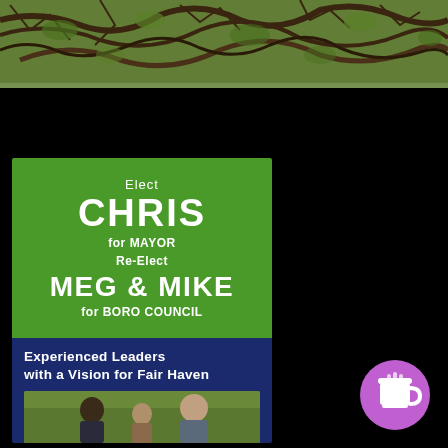[Figure (photo): Photo of tree branches and foliage, brown and green tones, spanning the top portion of the image]
[Figure (infographic): Political campaign advertisement on green and dark navy background. Green section reads: Elect CHRIS for MAYOR Re-Elect MEG & MIKE for BORO COUNCIL. Navy section reads: Experienced Leaders with a Vision for Fair Haven. Below text is a photo of three candidates standing outdoors.]
[Figure (illustration): Purple circular icon with a coffee cup graphic, located in the bottom right area of the page]